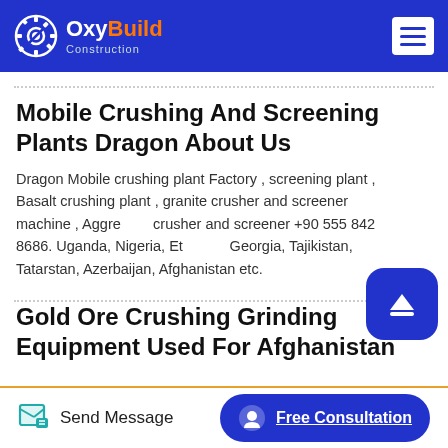OxyBuild Construction
Mobile Crushing And Screening Plants Dragon About Us
Dragon Mobile crushing plant Factory , screening plant , Basalt crushing plant , granite crusher and screener machine , Aggregate crusher and screener +90 555 842 8686. Uganda, Nigeria, Ethiopia, Georgia, Tajikistan, Tatarstan, Azerbaijan, Afghanistan etc.
Gold Ore Crushing Grinding Equipment Used For Afghanistan